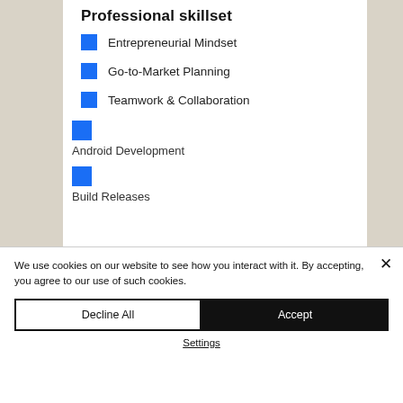Professional skillset
Entrepreneurial Mindset
Go-to-Market Planning
Teamwork & Collaboration
Android Development
Build Releases
We use cookies on our website to see how you interact with it. By accepting, you agree to our use of such cookies.
Decline All
Accept
Settings